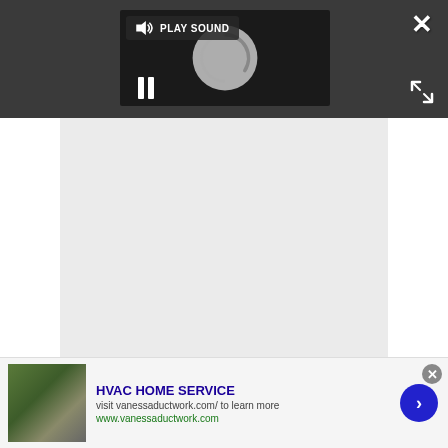[Figure (screenshot): Dark media player bar with play sound button, loading spinner, pause button, close X, and expand arrows overlay on top portion of screen]
[Figure (screenshot): Light gray content area below media player]
[Figure (screenshot): Ad banner at bottom: HVAC HOME SERVICE ad with garden image, text 'visit vanessaductwork.com/ to learn more', 'www.vanessaductwork.com', close button, and blue arrow button]